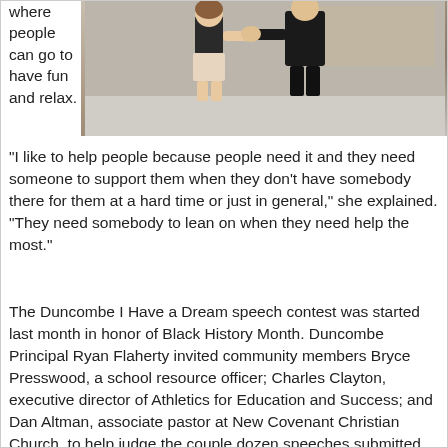where people can go to have fun and relax.
[Figure (photo): Two people shaking hands indoors; a young woman in a black top and shorts shaking hands with a man in a dark suit jacket.]
“I like to help people because people need it and they need someone to support them when they don’t have somebody there for them at a hard time or just in general,” she explained. “They need somebody to lean on when they need help the most.”
The Duncombe I Have a Dream speech contest was started last month in honor of Black History Month. Duncombe Principal Ryan Flaherty invited community members Bryce Presswood, a school resource officer; Charles Clayton, executive director of Athletics for Education and Success; and Dan Altman, associate pastor at New Covenant Christian Church, to help judge the couple dozen speeches submitted for the contest.